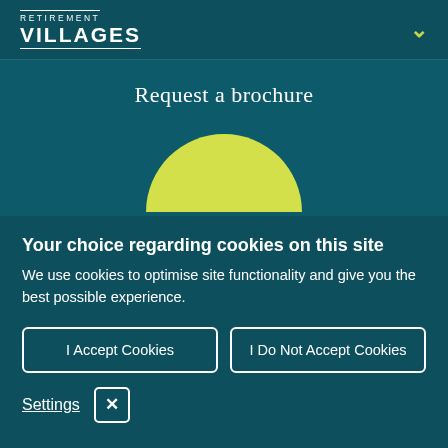RETIREMENT VILLAGES
Request a brochure
[Figure (illustration): Yellow semicircle / sunrise decorative graphic]
Your choice regarding cookies on this site
We use cookies to optimise site functionality and give you the best possible experience.
I Accept Cookies
I Do Not Accept Cookies
Settings